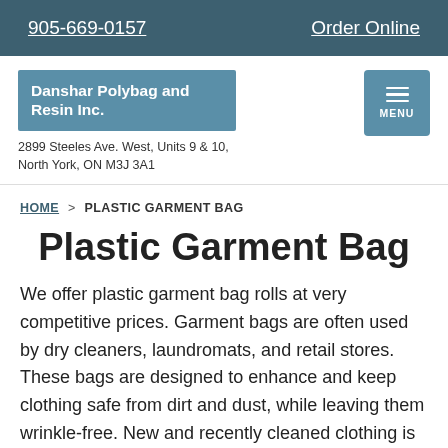905-669-0157   Order Online
[Figure (logo): Danshar Polybag and Resin Inc. company logo with blue background and white text]
2899 Steeles Ave. West, Units 9 & 10, North York, ON M3J 3A1
HOME > PLASTIC GARMENT BAG
Plastic Garment Bag
We offer plastic garment bag rolls at very competitive prices. Garment bags are often used by dry cleaners, laundromats, and retail stores. These bags are designed to enhance and keep clothing safe from dirt and dust, while leaving them wrinkle-free. New and recently cleaned clothing is kept clean, preserved